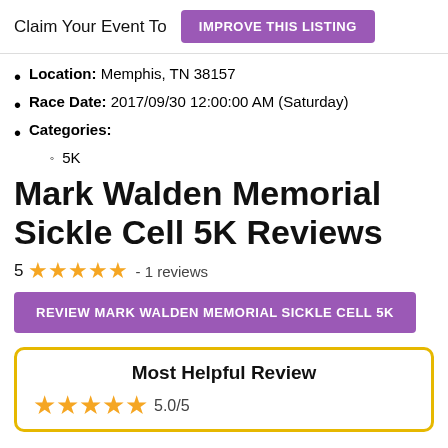Claim Your Event To  IMPROVE THIS LISTING
Location: Memphis, TN 38157
Race Date: 2017/09/30 12:00:00 AM (Saturday)
Categories:
5K
Mark Walden Memorial Sickle Cell 5K Reviews
5 ★★★★★ - 1 reviews
REVIEW MARK WALDEN MEMORIAL SICKLE CELL 5K
Most Helpful Review
★★★★★ 5.0/5